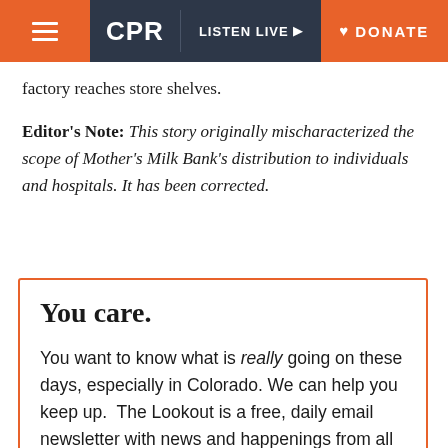CPR | LISTEN LIVE | DONATE
factory reaches store shelves.
Editor's Note: This story originally mischaracterized the scope of Mother's Milk Bank's distribution to individuals and hospitals. It has been corrected.
You care.
You want to know what is really going on these days, especially in Colorado. We can help you keep up.  The Lookout is a free, daily email newsletter with news and happenings from all over Colorado. Sign up here and we will see you